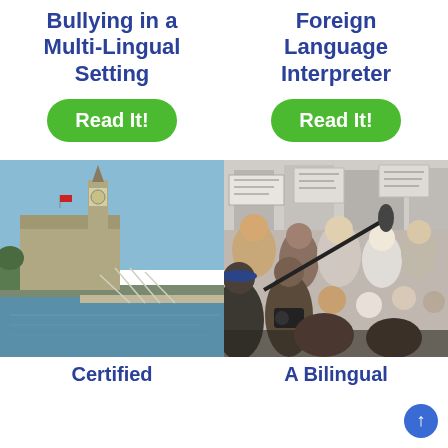Bullying in a Multi-Lingual Setting
Foreign Language Interpreter
Read It!
Read It!
[Figure (photo): Photo of London with Big Ben and the Houses of Parliament visible across the River Thames, with a bridge in the foreground]
[Figure (photo): Photo of a crowd of people at what appears to be a protest or press event, with people holding signs and microphones]
Certified
A Bilingual